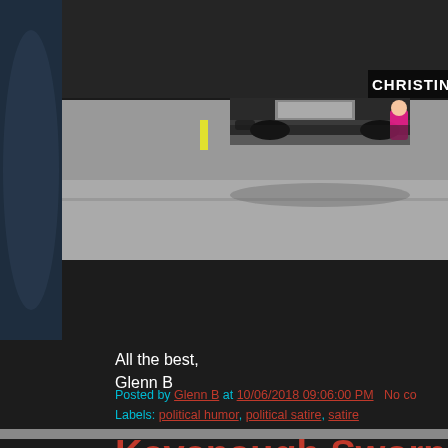[Figure (photo): Screenshot of a blog post showing a vehicle on a road with a person near it, with text overlay 'CHRISTIN' visible in the upper right. Dark background on a political blog.]
All the best,
Glenn B
Posted by Glenn B at 10/06/2018 09:06:00 PM   No co
Labels: political humor, political satire, satire
Kavanaugh Sworn In...